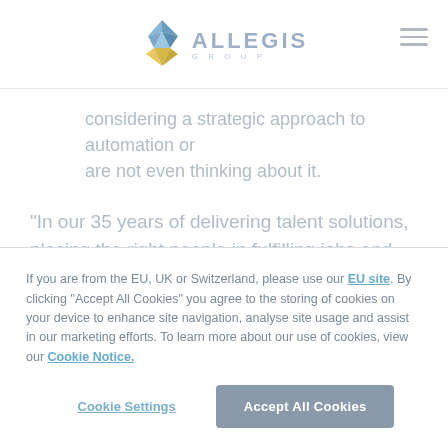ALLEGIS GROUP
considering a strategic approach to automation or are not even thinking about it.
“In our 35 years of delivering talent solutions, placing the right people in fulfilling jobs and adopting new technologies, we’ve found that the most successful workforce model is one that evolves with changing
If you are from the EU, UK or Switzerland, please use our EU site. By clicking “Accept All Cookies” you agree to the storing of cookies on your device to enhance site navigation, analyse site usage and assist in our marketing efforts. To learn more about our use of cookies, view our Cookie Notice.
Cookie Settings
Accept All Cookies